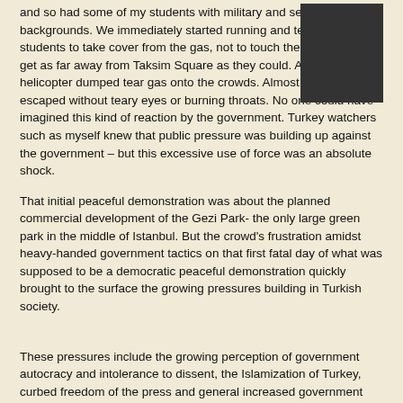and so had some of my students with military and security backgrounds. We immediately started running and texting other students to take cover from the gas, not to touch their face and to get as far away from Taksim Square as they could. At some point a helicopter dumped tear gas onto the crowds. Almost no one escaped without teary eyes or burning throats. No one could have imagined this kind of reaction by the government. Turkey watchers such as myself knew that public pressure was building up against the government – but this excessive use of force was an absolute shock.
That initial peaceful demonstration was about the planned commercial development of the Gezi Park- the only large green park in the middle of Istanbul. But the crowd's frustration amidst heavy-handed government tactics on that first fatal day of what was supposed to be a democratic peaceful demonstration quickly brought to the surface the growing pressures building in Turkish society.
These pressures include the growing perception of government autocracy and intolerance to dissent, the Islamization of Turkey, curbed freedom of the press and general increased government involvement in civilian social issues. For example, last month's regulations on the restricted sale and use of alcohol, more mosques being built and repaired all over Turkey (versus other public projects), government denouncements of public displays of affection, encouragement of families to have at least three children, CNN-Turk and prime-time TV stations airing cooking shows and penguin documentaries during the current Istanbul demonstrations, etc. There is a long list.